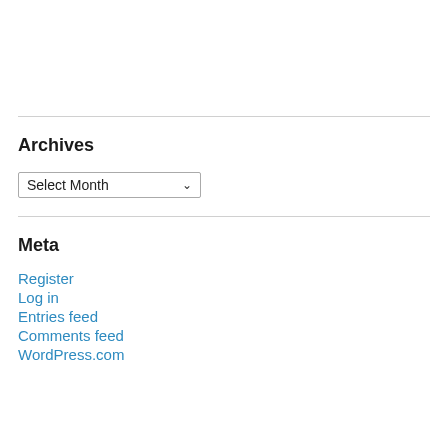Archives
Select Month
Meta
Register
Log in
Entries feed
Comments feed
WordPress.com